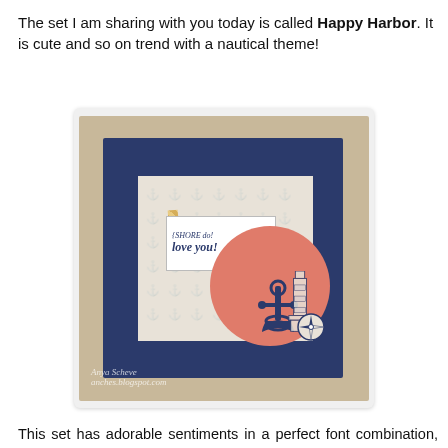The set I am sharing with you today is called Happy Harbor. It is cute and so on trend with a nautical theme!
[Figure (photo): A nautical-themed handmade greeting card displayed on a wooden surface. The card features a navy blue background with an inner panel of cream anchor-patterned paper, a coral/salmon colored circle, a navy anchor stamp, a lighthouse stamp, a small compass rosette, and a sentiment reading 'SHORE do! love you!' on a white label. A washi tape strip in gold decorates the left side. Watermark reads 'Anya Scheve' and 'anches.blogspot.com'.]
This set has adorable sentiments in a perfect font combination, along with background building elements and other fabulous images. I used the row of anchors to make